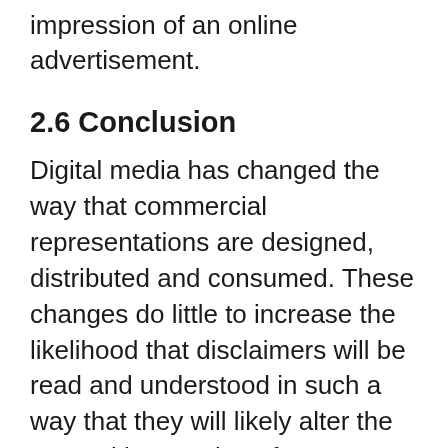impression of an online advertisement.
2.6 Conclusion
Digital media has changed the way that commercial representations are designed, distributed and consumed. These changes do little to increase the likelihood that disclaimers will be read and understood in such a way that they will likely alter the general impression of an otherwise materially false or misleading representation. If anything, it is easy to imagine the exponential increase in risk